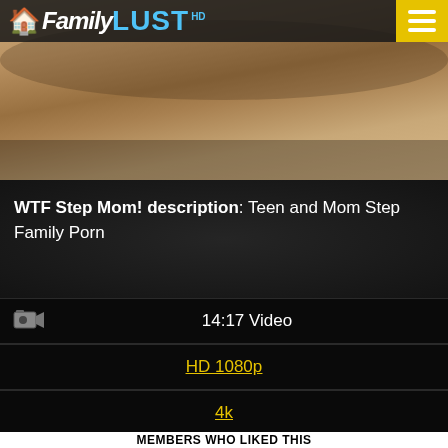[Figure (screenshot): Website header with FamilyLust HD logo and hamburger menu button on yellow background]
[Figure (photo): Adult content thumbnail image showing bodies on a surface]
WTF Step Mom! description: Teen and Mom Step Family Porn
| [camera icon] | 14:17 Video |
|  | HD 1080p |
|  | 4k |
|  | IPhone/Mobile |
| [photo icon] | View 129 Photos |
MEMBERS WHO LIKED THIS